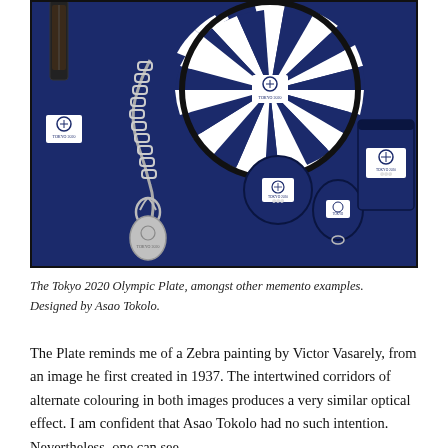[Figure (photo): Tokyo 2020 Olympic merchandise on a dark navy blue background: a decorative plate with black and white checkerboard/optical illusion pattern, a keychain with checkered lanyard and oval charm, two round pins/buttons with Tokyo 2020 Olympic logo, and a cylindrical mug, all branded with the Tokyo 2020 Olympic logo.]
The Tokyo 2020 Olympic Plate, amongst other memento examples. Designed by Asao Tokolo.
The Plate reminds me of a Zebra painting by Victor Vasarely, from an image he first created in 1937. The intertwined corridors of alternate colouring in both images produces a very similar optical effect. I am confident that Asao Tokolo had no such intention. Nevertheless, one can see